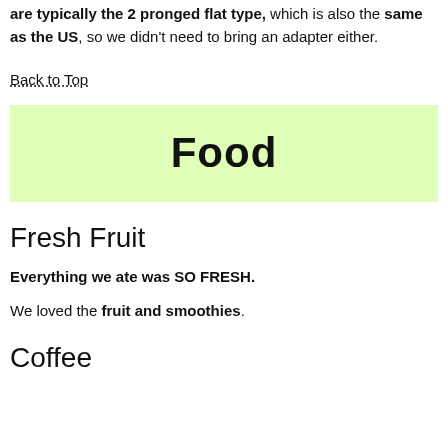are typically the 2 pronged flat type, which is also the same as the US, so we didn't need to bring an adapter either.
Back to Top
[Figure (other): Green banner with bold text 'Food' centered]
Fresh Fruit
Everything we ate was SO FRESH.
We loved the fruit and smoothies.
Coffee